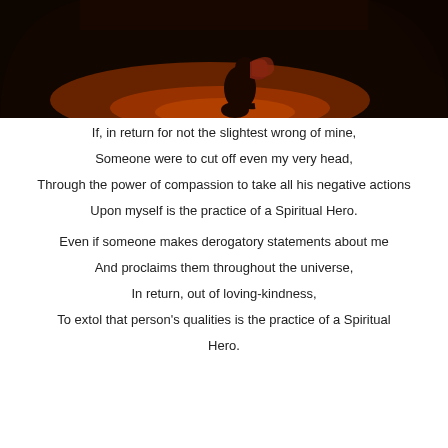[Figure (photo): Dark atmospheric photo of a person sitting in a dimly lit cave or tunnel, with warm reddish-brown glow on the ground and the figure silhouetted against dark stone walls]
If, in return for not the slightest wrong of mine,
Someone were to cut off even my very head,
Through the power of compassion to take all his negative actions
Upon myself is the practice of a Spiritual Hero.

Even if someone makes derogatory statements about me
And proclaims them throughout the universe,
In return, out of loving-kindness,
To extol that person's qualities is the practice of a Spiritual Hero.